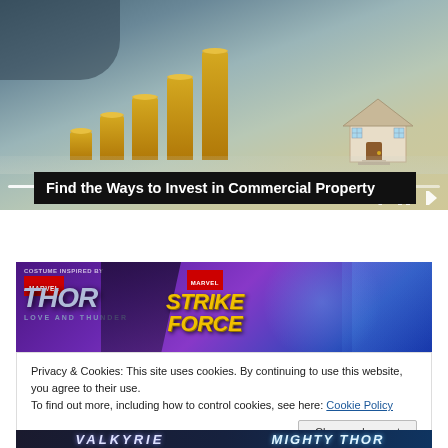[Figure (photo): Photo of stacked gold coins in increasing heights next to a model house, with a hand in the background, resembling investment growth. Below the image are media playback controls and a progress bar.]
Find the Ways to Invest in Commercial Property
[Figure (photo): Marvel Strike Force advertisement banner featuring Thor: Love and Thunder branding, with characters on a purple/blue background.]
Privacy & Cookies: This site uses cookies. By continuing to use this website, you agree to their use.
To find out more, including how to control cookies, see here: Cookie Policy
Close and accept
[Figure (photo): Partially visible bottom banner showing VALKYRIE and MIGHTY THOR text in stylized fonts on dark background.]